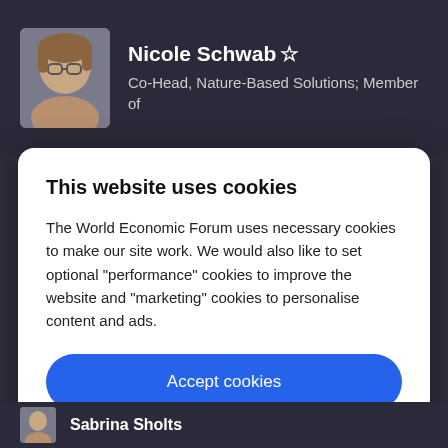[Figure (photo): Profile photo of Nicole Schwab, a woman with glasses and light brown hair]
Nicole Schwab ☆
Co-Head, Nature-Based Solutions; Member of
This website uses cookies
The World Economic Forum uses necessary cookies to make our site work. We would also like to set optional "performance" cookies to improve the website and "marketing" cookies to personalise content and ads.
Accept cookies
Reject cookies
Cookie settings
Sabrina Sholts